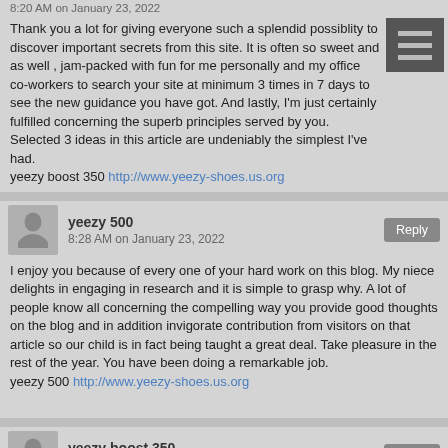Thank you a lot for giving everyone such a splendid possiblity to discover important secrets from this site. It is often so sweet and as well , jam-packed with fun for me personally and my office co-workers to search your site at minimum 3 times in 7 days to see the new guidance you have got. And lastly, I'm just certainly fulfilled concerning the superb principles served by you. Selected 3 ideas in this article are undeniably the simplest I've had.
yeezy boost 350 http://www.yeezy-shoes.us.org
yeezy 500
8:28 AM on January 23, 2022
I enjoy you because of every one of your hard work on this blog. My niece delights in engaging in research and it is simple to grasp why. A lot of people know all concerning the compelling way you provide good thoughts on the blog and in addition invigorate contribution from visitors on that article so our child is in fact being taught a great deal. Take pleasure in the rest of the year. You have been doing a remarkable job.
yeezy 500 http://www.yeezy-shoes.us.org
yeezy boost 350
8:49 AM on January 23, 2022
I must show my appreciation for your generosity giving support to persons that need guidance on this particular situation. Your very